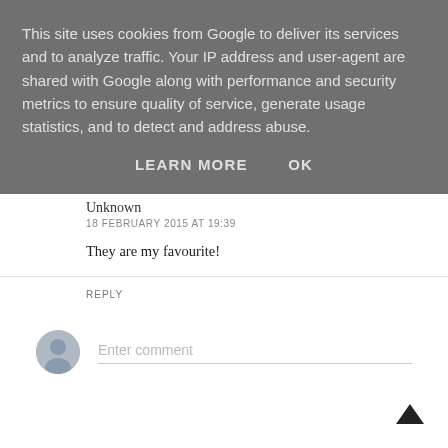This site uses cookies from Google to deliver its services and to analyze traffic. Your IP address and user-agent are shared with Google along with performance and security metrics to ensure quality of service, generate usage statistics, and to detect and address abuse.
LEARN MORE    OK
Unknown
18 FEBRUARY 2015 AT 19:39
They are my favourite!
REPLY
Enter comment